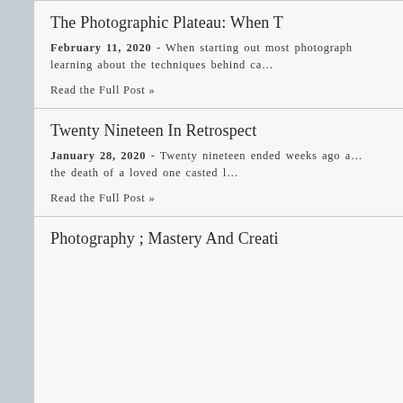The Photographic Plateau: When T…
February 11, 2020 - When starting out most photograph… learning about the techniques behind ca…
Read the Full Post »
Twenty Nineteen In Retrospect
January 28, 2020 - Twenty nineteen ended weeks ago a… the death of a loved one casted l…
Read the Full Post »
Photography ; Mastery And Creati…